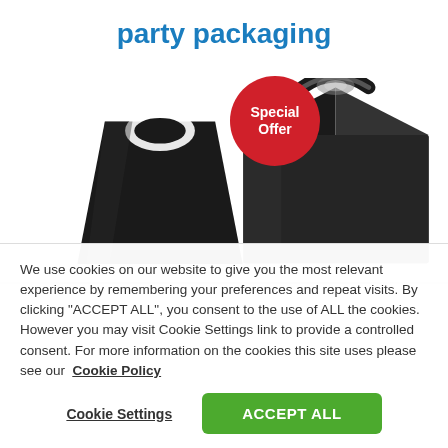party packaging
[Figure (photo): Two black party packaging items: a flat bag with oval handle cutout on the left and a black gable box on the right, with a red circular 'Special Offer' badge overlaid in the center.]
We use cookies on our website to give you the most relevant experience by remembering your preferences and repeat visits. By clicking “ACCEPT ALL”, you consent to the use of ALL the cookies. However you may visit Cookie Settings link to provide a controlled consent. For more information on the cookies this site uses please see our  Cookie Policy
Cookie Settings
ACCEPT ALL